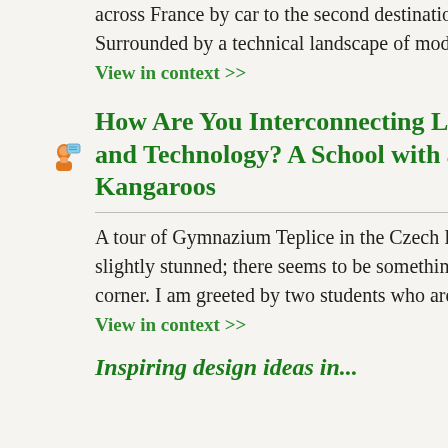across France by car to the second destination, just outside Poitiers . Surrounded by a technical landscape of modern...
View in context >>
How Are You Interconnecting Learning Spaces and Technology? A School with a Zoo and Three Kangaroos
A tour of Gymnazium Teplice in the Czech Republic leaves me slightly stunned; there seems to be something different around every corner. I am greeted by two students who are keen to show me...
View in context >>
Inspiring design ideas in...
Are there c schools fu
Finally, I must n of the Link Obs gave me a ch students work the Sweet Frog
Next Stop: Gra
By Diana D
powerpoin individual d partnership
Add this to....
Previous